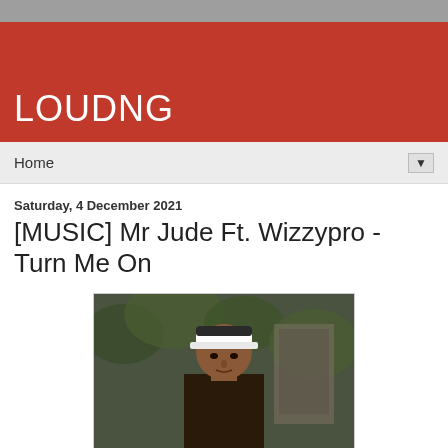LOUDNG
Home
Saturday, 4 December 2021
[MUSIC] Mr Jude Ft. Wizzypro - Turn Me On
[Figure (photo): Young man wearing a white and dark cap, standing outdoors with foliage in the background]